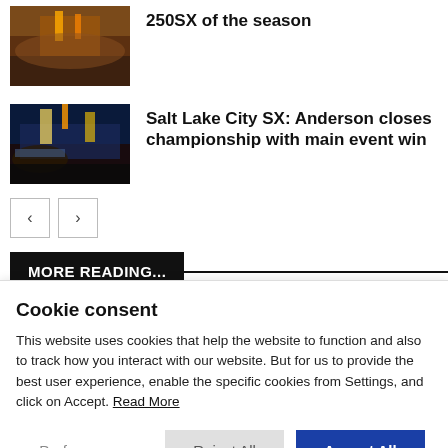[Figure (photo): Crowd at motocross/supercross event with fire/pyrotechnics, top of page partially cut off]
250SX of the season
[Figure (photo): Night-time supercross event with pyrotechnics and stadium lights, Salt Lake City SX]
Salt Lake City SX: Anderson closes championship with main event win
< >
MORE READING...
Cookie consent
This website uses cookies that help the website to function and also to track how you interact with our website. But for us to provide the best user experience, enable the specific cookies from Settings, and click on Accept. Read More
Preferences  Reject All  Accept All